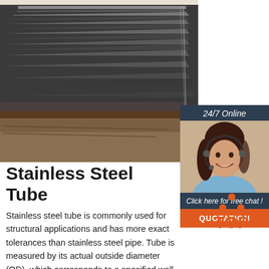[Figure (photo): Stack of flat stainless steel plates/sheets stacked on top of each other in an industrial yard]
[Figure (photo): Customer service woman with headset smiling, with dark header '24/7 Online', italic text 'Click here for free chat!' and an orange QUOTATION button]
Stainless Steel Tube
[Figure (logo): TOP logo with orange dots forming a triangle above the word TOP in orange text]
Stainless steel tube is commonly used for structural applications and has more exact tolerances than stainless steel pipe. Tube is measured by its actual outside diameter (OD), which corresponds to a specified wall thickness.